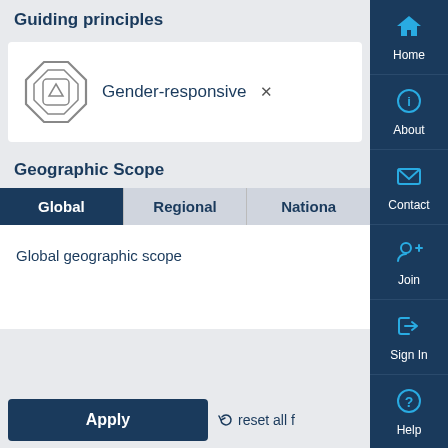Guiding principles
[Figure (screenshot): A tag/chip showing 'Gender-responsive' with an octagon/shield icon and an X close button]
Geographic Scope
Global | Regional | National (tabs)
Global geographic scope
Apply
reset all f
[Figure (screenshot): Right sidebar navigation with Home, About, Contact, Join, Sign In, Help icons in dark blue]